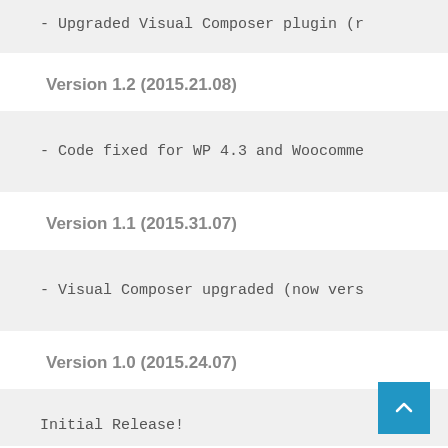- Upgraded Visual Composer plugin (r
Version 1.2 (2015.21.08)
- Code fixed for WP 4.3 and Woocomme
Version 1.1 (2015.31.07)
- Visual Composer upgraded (now vers
Version 1.0 (2015.24.07)
Initial Release!